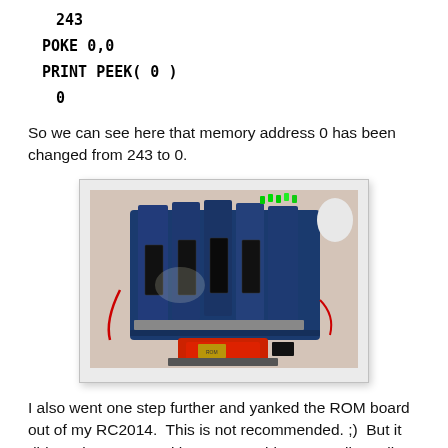243
POKE 0,0
PRINT PEEK( 0 )
0
So we can see here that memory address 0 has been changed from 243 to 0.
[Figure (photo): Photo of an RC2014 computer circuit board with multiple stacked expansion cards, green LEDs visible on top, red wiring, and a ROM chip module in the foreground on a white surface.]
I also went one step further and yanked the ROM board out of my RC2014.  This is not recommended. ;)  But it did continue to run without any problems... until I really tried to